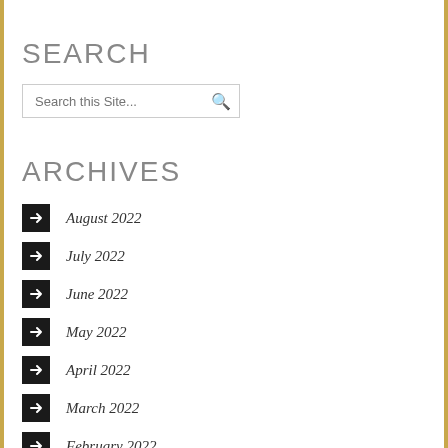SEARCH
[Figure (other): Search input box with placeholder text 'Search this Site...' and a magnifying glass icon]
ARCHIVES
August 2022
July 2022
June 2022
May 2022
April 2022
March 2022
February 2022
January 2022